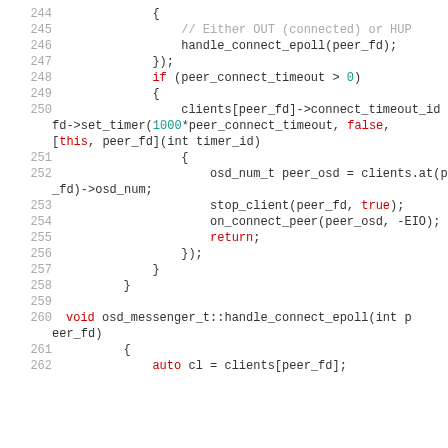Code listing lines 244-262, C++ source code for osd_messenger_t::handle_connect_epoll function